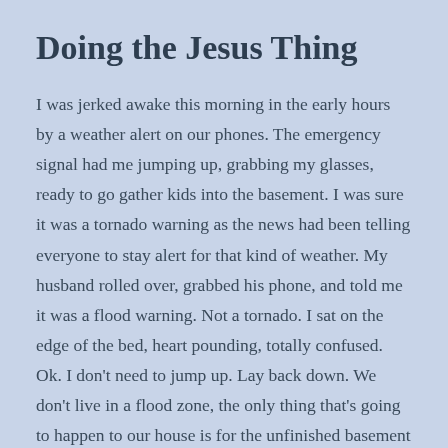Doing the Jesus Thing
I was jerked awake this morning in the early hours by a weather alert on our phones. The emergency signal had me jumping up, grabbing my glasses, ready to go gather kids into the basement. I was sure it was a tornado warning as the news had been telling everyone to stay alert for that kind of weather. My husband rolled over, grabbed his phone, and told me it was a flood warning. Not a tornado. I sat on the edge of the bed, heart pounding, totally confused. Ok. I don't need to jump up. Lay back down. We don't live in a flood zone, the only thing that's going to happen to our house is for the unfinished basement to get flooded, which it does